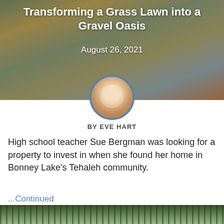[Figure (photo): Hero image of a gravel garden with flowers, raised beds, a bird bath, and a house in the background. White text overlay shows title and date.]
Transforming a Grass Lawn into a Gravel Oasis
August 26, 2021
[Figure (photo): Circular portrait photo of Eve Hart, a blonde woman smiling, framed with a blue-grey circle border.]
BY EVE HART
High school teacher Sue Bergman was looking for a property to invest in when she found her home in Bonney Lake's Tehaleh community.
...Continued
[Figure (photo): Bottom strip showing a close-up of ornamental grasses or feathery plants, partially visible at the bottom of the page.]